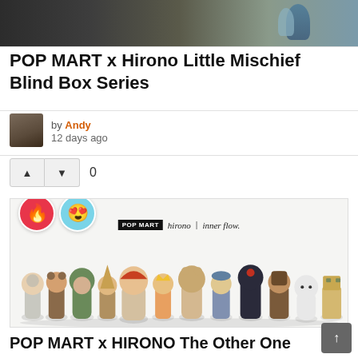[Figure (photo): Top banner image showing collectible figurines/scene in dark tones]
POP MART x Hirono Little Mischief Blind Box Series
by Andy
12 days ago
▲  ▼  0
[Figure (photo): POP MART x Hirono Inner Flow collection of small designer figurines/toys arranged in a row, with fire and heart-eyes emoji overlays, brand logos at top reading POP MART | hirono | inner flow.]
POP MART x HIRONO The Other One